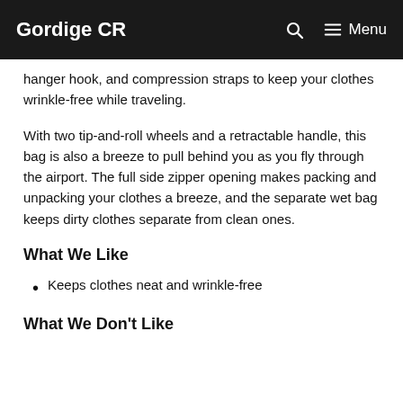Gordige CR   Menu
hanger hook, and compression straps to keep your clothes wrinkle-free while traveling.
With two tip-and-roll wheels and a retractable handle, this bag is also a breeze to pull behind you as you fly through the airport. The full side zipper opening makes packing and unpacking your clothes a breeze, and the separate wet bag keeps dirty clothes separate from clean ones.
What We Like
Keeps clothes neat and wrinkle-free
What We Don't Like